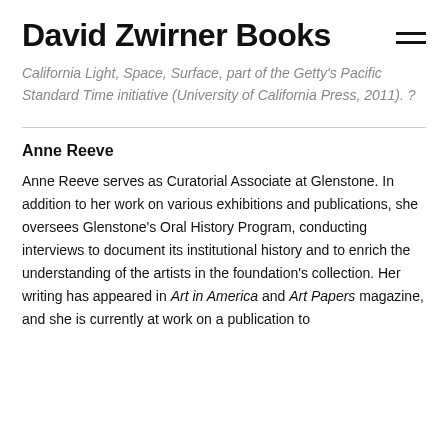David Zwirner Books
California Light, Space, Surface, part of the Getty's Pacific Standard Time initiative (University of California Press, 2011). ?
Anne Reeve
Anne Reeve serves as Curatorial Associate at Glenstone. In addition to her work on various exhibitions and publications, she oversees Glenstone's Oral History Program, conducting interviews to document its institutional history and to enrich the understanding of the artists in the foundation's collection. Her writing has appeared in Art in America and Art Papers magazine, and she is currently at work on a publication to